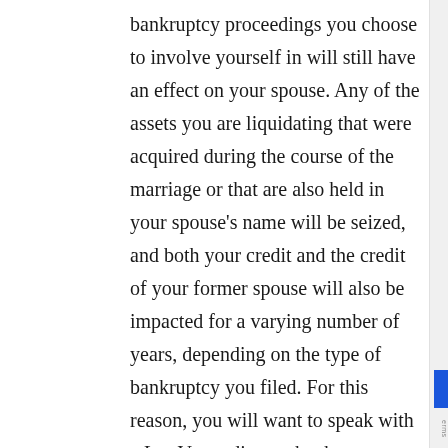bankruptcy proceedings you choose to involve yourself in will still have an effect on your spouse. Any of the assets you are liquidating that were acquired during the course of the marriage or that are also held in your spouse's name will be seized, and both your credit and the credit of your former spouse will also be impacted for a varying number of years, depending on the type of bankruptcy you filed. For this reason, you will want to speak with a Las Vegas divorce bankruptcy attorney or other financial advisor in order to determine the best possible course of action for your exact situation and financial needs and goals.